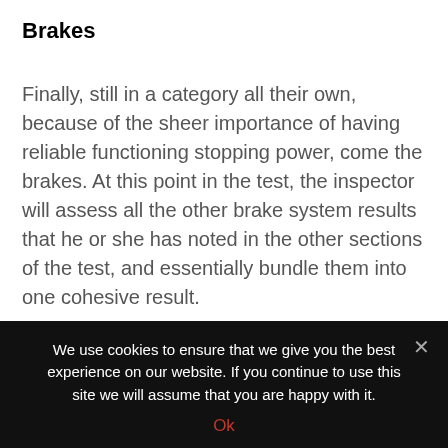Brakes
Finally, still in a category all their own, because of the sheer importance of having reliable functioning stopping power, come the brakes. At this point in the test, the inspector will assess all the other brake system results that he or she has noted in the other sections of the test, and essentially bundle them into one cohesive result.
Now you know exactly what factors your MOT
We use cookies to ensure that we give you the best experience on our website. If you continue to use this site we will assume that you are happy with it.
Ok